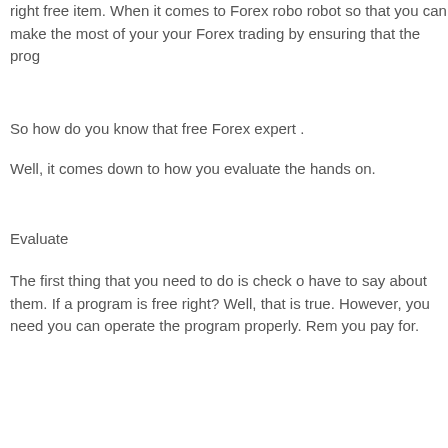right free item. When it comes to Forex robo robot so that you can make the most of your your Forex trading by ensuring that the prog
So how do you know that free Forex expert .
Well, it comes down to how you evaluate the hands on.
Evaluate
The first thing that you need to do is check o have to say about them. If a program is free right? Well, that is true. However, you need you can operate the program properly. Rem you pay for.
If these Forex robots don't have:
* Literature
* Support
* An interface that is easy to understand
* Easy installation
* A practice mode so that you can practice y
Then you may not want to invest your mone works. The best Forex robots come with ple support systems that can help you if you're